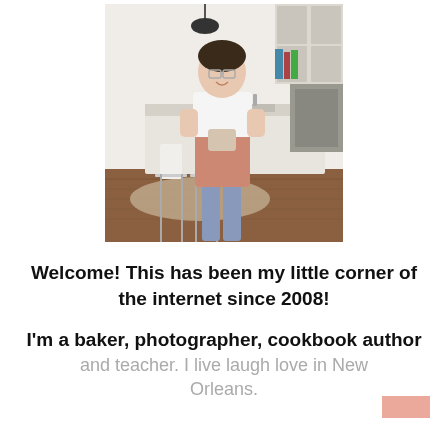[Figure (photo): A woman wearing a white blouse and salmon/terracotta apron holding a mug, standing in a bright modern kitchen with white cabinetry, bar stools, and hardwood floors.]
Welcome! This has been my little corner of the internet since 2008!
I'm a baker, photographer, cookbook author and teacher.  I live laugh love in New Orleans.